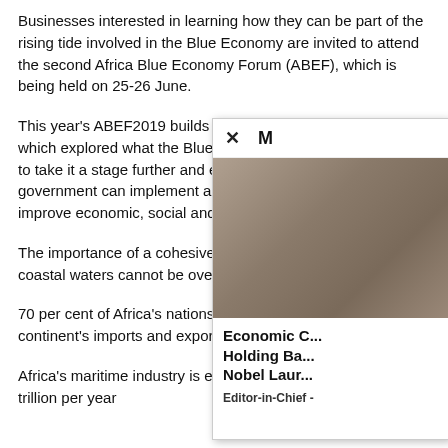Businesses interested in learning how they can be part of the rising tide involved in the Blue Economy are invited to attend the second Africa Blue Economy Forum (ABEF), which is being held on 25-26 June.
This year's ABEF2019 builds on the inaugural event last year which explored what the Blue Economy was. This year aims to take it a stage further and explore how businesses and government can implement actions that will proactively improve economic, social and environmental welfare of the ...
The importance of a cohesive strategy that will protect Africa's coastal waters cannot be overstated:
70 per cent of Africa's nations are coastal, 90 per cent of the continent's imports and exports are done via sea tra...
[Figure (photo): Popup overlay showing a close-up photo of a person wearing glasses, with headline text 'Economic C... Holding Ba... Nobel Laur...' and byline 'Editor-in-Chief -']
Africa's maritime industry is estimated to be worth US$1 trillion per year